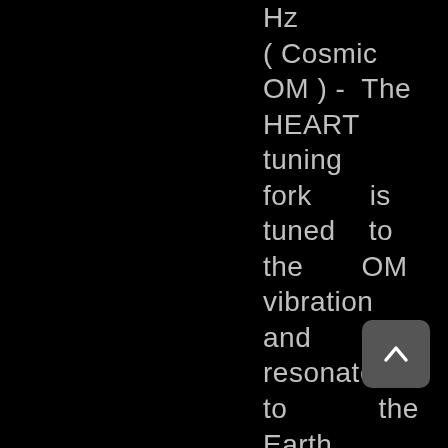Hz ( Cosmic OM ) -  The HEART tuning fork  is tuned  to the  OM vibration and resonates to  the Earth Year  or
[Figure (other): A rounded rectangle scroll-to-top button with a chevron/caret arrow pointing upward, dark gray background]